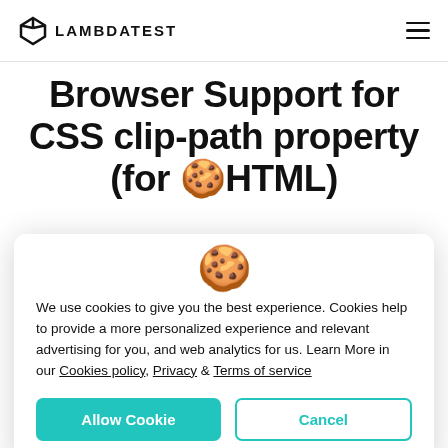LAMBDATEST
Browser Support for CSS clip-path property (for HTML)
[Figure (other): Cookie consent modal dialog with cookie emoji, privacy notice text, and Allow Cookie / Cancel buttons]
We use cookies to give you the best experience. Cookies help to provide a more personalized experience and relevant advertising for you, and web analytics for us. Learn More in our Cookies policy, Privacy & Terms of service